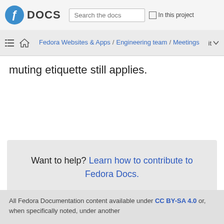Fedora DOCS  |  Search the docs  |  In this project
Fedora Websites & Apps / Engineering team / Meetings   it
muting etiquette still applies.
Want to help? Learn how to contribute to Fedora Docs.
All Fedora Documentation content available under CC BY-SA 4.0 or, when specifically noted, under another